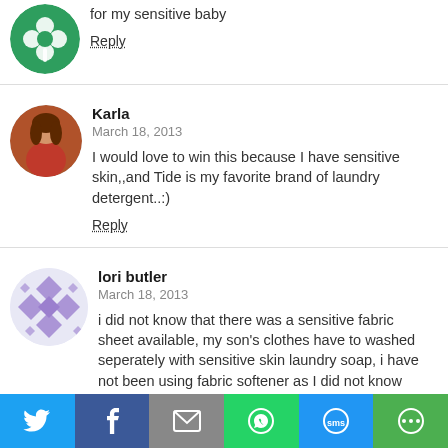for my sensitive baby
Reply
Karla
March 18, 2013
I would love to win this because I have sensitive skin,,and Tide is my favorite brand of laundry detergent..:)
Reply
lori butler
March 18, 2013
i did not know that there was a sensitive fabric sheet available, my son's clothes have to washed seperately with sensitive skin laundry soap, i have not been using fabric softener as I did not know there was any on the market for sensitive skin
Reply